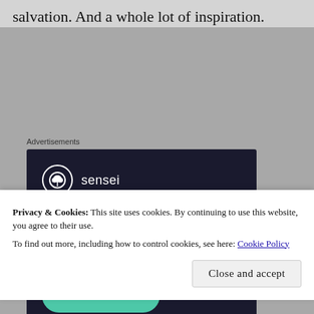salvation. And a whole lot of inspiration.
Advertisements
[Figure (screenshot): Sensei advertisement banner: dark navy background with Sensei logo (tree icon in circle), headline 'Launch your online course with WordPress' in teal, and a teal 'Learn More' button]
Privacy & Cookies: This site uses cookies. By continuing to use this website, you agree to their use.
To find out more, including how to control cookies, see here: Cookie Policy
Close and accept